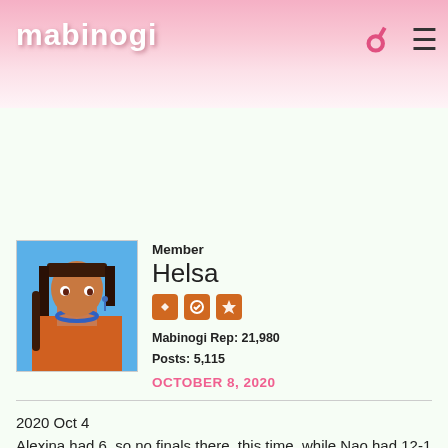mabinogi
[Figure (photo): User avatar thumbnail showing anime-style character with dark hair and red outfit]
Member
Helsa
Mabinogi Rep: 21,980
Posts: 5,115
OCTOBER 8, 2020
[Figure (photo): User avatar showing anime-style character with brown skin, orange outfit, and blue necklace]
2020 Oct 4
Alexina had 6, so no finals there, this time, while Nao had 12-1 and its' final can be found here.